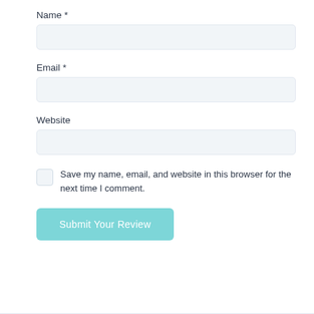Name *
[Figure (other): Empty text input field for Name]
Email *
[Figure (other): Empty text input field for Email]
Website
[Figure (other): Empty text input field for Website]
Save my name, email, and website in this browser for the next time I comment.
Submit Your Review